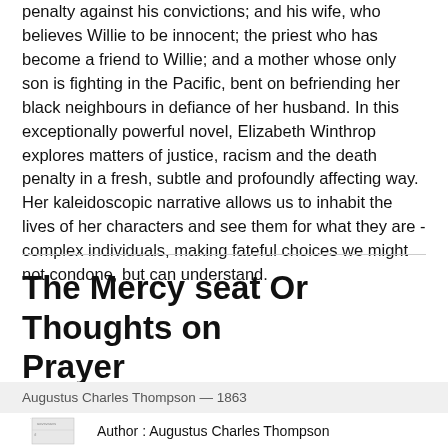penalty against his convictions; and his wife, who believes Willie to be innocent; the priest who has become a friend to Willie; and a mother whose only son is fighting in the Pacific, bent on befriending her black neighbours in defiance of her husband. In this exceptionally powerful novel, Elizabeth Winthrop explores matters of justice, racism and the death penalty in a fresh, subtle and profoundly affecting way. Her kaleidoscopic narrative allows us to inhabit the lives of her characters and see them for what they are - complex individuals, making fateful choices we might not condone, but can understand.
The Mercy seat Or Thoughts on Prayer
Augustus Charles Thompson — 1863
Author : Augustus Charles Thompson